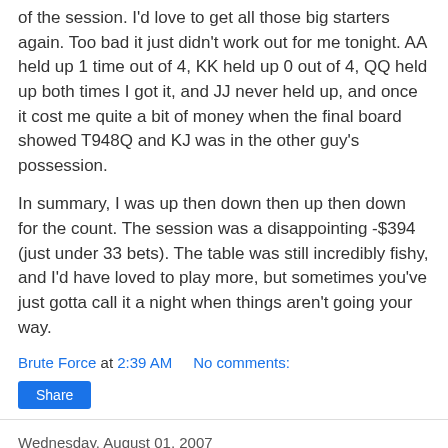of the session. I'd love to get all those big starters again. Too bad it just didn't work out for me tonight. AA held up 1 time out of 4, KK held up 0 out of 4, QQ held up both times I got it, and JJ never held up, and once it cost me quite a bit of money when the final board showed T948Q and KJ was in the other guy's possession.
In summary, I was up then down then up then down for the count. The session was a disappointing -$394 (just under 33 bets). The table was still incredibly fishy, and I'd have loved to play more, but sometimes you've just gotta call it a night when things aren't going your way.
Brute Force at 2:39 AM   No comments:
Share
Wednesday, August 01, 2007
The Garden Keeps On Giving
I know that I'm starting to sound like a broken record, but